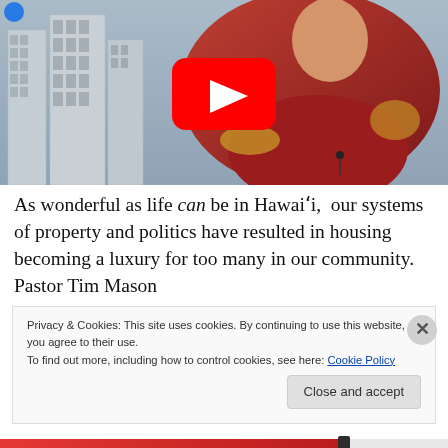[Figure (screenshot): YouTube video thumbnail showing a pastor in a red/maroon clergy robe with a clerical collar, standing against a city skyline background. A red YouTube play button is overlaid in the center of the image. A small blue logo is visible in the top-left corner.]
As wonderful as life can be in Hawai'i,  our systems of property and politics have resulted in housing becoming a luxury for too many in our community. Pastor Tim Mason
Privacy & Cookies: This site uses cookies. By continuing to use this website, you agree to their use.
To find out more, including how to control cookies, see here: Cookie Policy